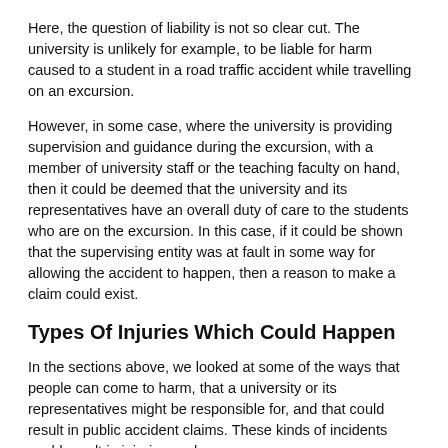Here, the question of liability is not so clear cut. The university is unlikely for example, to be liable for harm caused to a student in a road traffic accident while travelling on an excursion.
However, in some case, where the university is providing supervision and guidance during the excursion, with a member of university staff or the teaching faculty on hand, then it could be deemed that the university and its representatives have an overall duty of care to the students who are on the excursion. In this case, if it could be shown that the supervising entity was at fault in some way for allowing the accident to happen, then a reason to make a claim could exist.
Types Of Injuries Which Could Happen
In the sections above, we looked at some of the ways that people can come to harm, that a university or its representatives might be responsible for, and that could result in public accident claims. These kinds of incidents could result in injuries such as:
Fractured bones (simple or compound).
Sprains, strains and other soft tissue injuries.